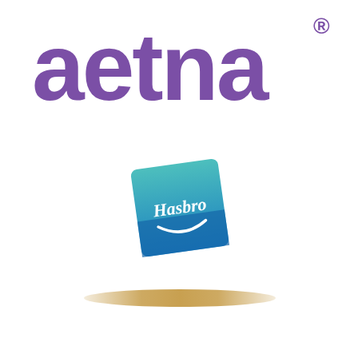[Figure (logo): Aetna logo in large purple lowercase letters with registered trademark symbol]
[Figure (logo): Hasbro logo - blue square rotated slightly with teal gradient top, white script Hasbro text and smile arc]
[Figure (illustration): Small golden/tan dome or hill shape, like an arch or mound]